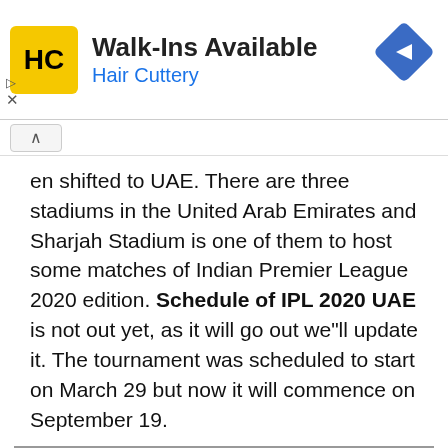[Figure (infographic): Hair Cuttery advertisement banner with yellow HC logo, 'Walk-Ins Available' text, 'Hair Cuttery' subtitle in blue, and a blue diamond-shaped arrow icon on the right.]
en shifted to UAE. There are three stadiums in the United Arab Emirates and Sharjah Stadium is one of them to host some matches of Indian Premier League 2020 edition. Schedule of IPL 2020 UAE is not out yet, as it will go out we"ll update it. The tournament was scheduled to start on March 29 but now it will commence on September 19.
| MATCH CENTER |  |
| --- | --- |
| MATCH CENTER | Rajasthan Royals VS Chennai Super Kings |
| Day | TUE |